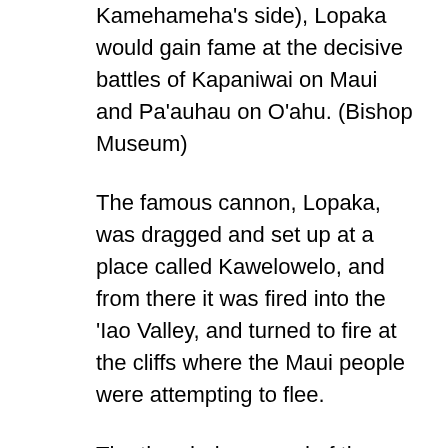Kamehameha's side), Lopaka would gain fame at the decisive battles of Kapaniwai on Maui and Pa'auhau on O'ahu. (Bishop Museum)
The famous cannon, Lopaka, was dragged and set up at a place called Kawelowelo, and from there it was fired into the 'Iao Valley, and turned to fire at the cliffs where the Maui people were attempting to flee.
The thundering sound of the Lopaka cannon caused absolute terror amongst the Maui warriors, and some of them met their death by the weapons of the foreigners. They were slaughtered below the pali.
While the Lopaka cannon was being fired by John Young, Maui warriors gathered together